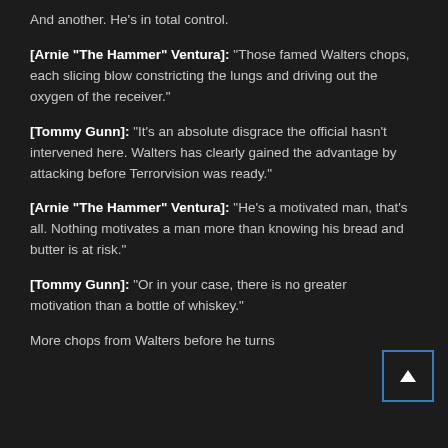And another. He's in total control.
[Arnie "The Hammer" Ventura]: "Those famed Walters chops, each slicing blow constricting the lungs and driving out the oxygen of the receiver."
[Tommy Gunn]: "It's an absolute disgrace the official hasn't intervened here. Walters has clearly gained the advantage by attacking before Terrorvision was ready."
[Arnie "The Hammer" Ventura]: "He's a motivated man, that's all. Nothing motivates a man more than knowing his bread and butter is at risk."
[Tommy Gunn]: "Or in your case, there is no greater motivation than a bottle of whiskey."
More chops from Walters before he turns